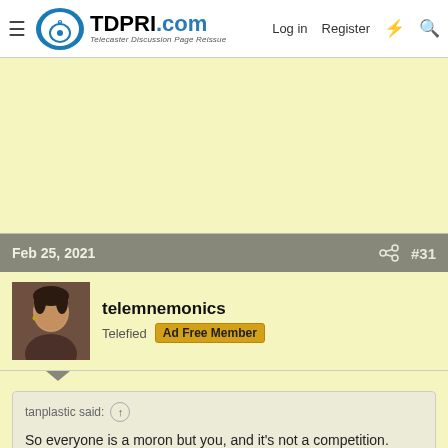TDPRI.com — Telecaster Discussion Page Reissue — Log in | Register
[Figure (other): Light yellow advertisement area placeholder]
Feb 25, 2021  #31
telemnemonics
Telefied  Ad Free Member
tanplastic said:
So everyone is a moron but you, and it's not a competition.
Huh.